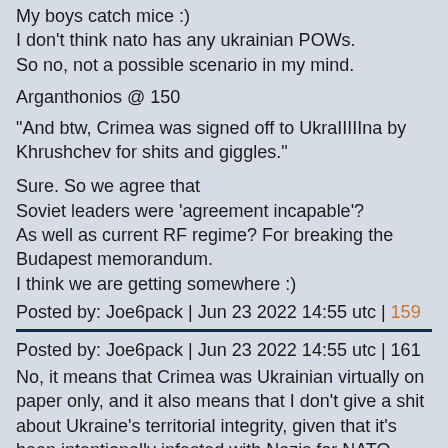My boys catch mice :)
I don't think nato has any ukrainian POWs.
So no, not a possible scenario in my mind.
Arganthonios @ 150
"And btw, Crimea was signed off to UkraIIIIIna by Khrushchev for shits and giggles."
Sure. So we agree that
Soviet leaders were 'agreement incapable'?
As well as current RF regime? For breaking the Budapest memorandum.
I think we are getting somewhere :)
Posted by: Joe6pack | Jun 23 2022 14:55 utc | 159
Posted by: Joe6pack | Jun 23 2022 14:55 utc | 161
No, it means that Crimea was Ukrainian virtually on paper only, and it also means that I don't give a shit about Ukraine's territorial integrity, given that it's been intentionally infested with Nazis for NATO encirclement shenanigans.
Posted by: Arganthonios | Jun 23 2022 15:00 utc | 160
Arganthonios @ 162